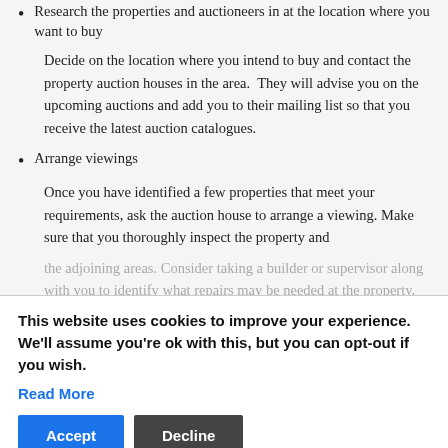Research the properties and auctioneers in at the location where you want to buy
Decide on the location where you intend to buy and contact the property auction houses in the area.  They will advise you on the upcoming auctions and add you to their mailing list so that you receive the latest auction catalogues.
Arrange viewings
Once you have identified a few properties that meet your requirements, ask the auction house to arrange a viewing. Make sure that you thoroughly inspect the property and the adjoining areas. Consider taking a builder or supervisor along with you to identify what repairs may be needed at the property, and what would be the likely expenses. Do not hesitate to ask questions to the auctioneer if you have any
This website uses cookies to improve your experience. We'll assume you're ok with this, but you can opt-out if you wish. Read More
Ask the auction house for a copy of the auction particulars